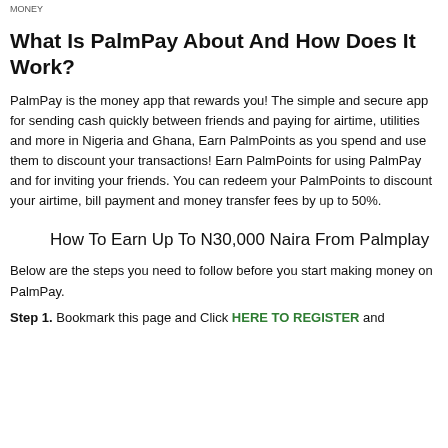MONEY
What Is PalmPay About And How Does It Work?
PalmPay is the money app that rewards you! The simple and secure app for sending cash quickly between friends and paying for airtime, utilities and more in Nigeria and Ghana, Earn PalmPoints as you spend and use them to discount your transactions! Earn PalmPoints for using PalmPay and for inviting your friends. You can redeem your PalmPoints to discount your airtime, bill payment and money transfer fees by up to 50%.
How To Earn Up To N30,000 Naira From Palmplay
Below are the steps you need to follow before you start making money on PalmPay.
Step 1. Bookmark this page and Click HERE TO REGISTER and